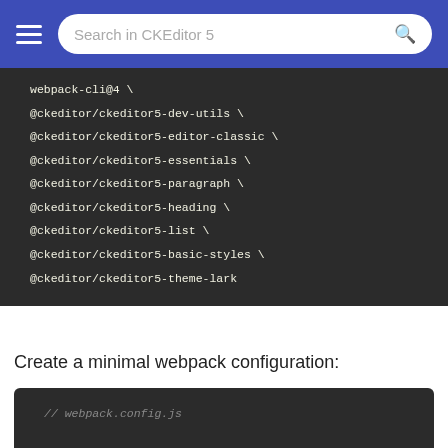Search in CKEditor 5
webpack-cli@4 \
@ckeditor/ckeditor5-dev-utils \
@ckeditor/ckeditor5-editor-classic \
@ckeditor/ckeditor5-essentials \
@ckeditor/ckeditor5-paragraph \
@ckeditor/ckeditor5-heading \
@ckeditor/ckeditor5-list \
@ckeditor/ckeditor5-basic-styles \
@ckeditor/ckeditor5-theme-lark
Create a minimal webpack configuration:
// webpack.config.js

'use strict';

const path = require( 'path' );